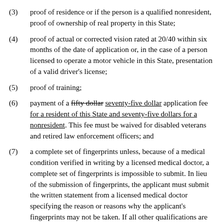(3)   proof of residence or if the person is a qualified nonresident, proof of ownership of real property in this State;
(4)   proof of actual or corrected vision rated at 20/40 within six months of the date of application or, in the case of a person licensed to operate a motor vehicle in this State, presentation of a valid driver's license;
(5)   proof of training;
(6)   payment of a [strikethrough: fifty dollar] [underline: seventy-five dollar] application fee [underline: for a resident of this State and seventy-five dollars for a nonresident]. This fee must be waived for disabled veterans and retired law enforcement officers; and
(7)   a complete set of fingerprints unless, because of a medical condition verified in writing by a licensed medical doctor, a complete set of fingerprints is impossible to submit. In lieu of the submission of fingerprints, the applicant must submit the written statement from a licensed medical doctor specifying the reason or reasons why the applicant's fingerprints may not be taken. If all other qualifications are met, the Chief of SLED may waive the fingerprint requirements of this item. The statement of medical limitation must be attached to the copy of the application retained by SLED. A law enforcement agency may charge a fee not to